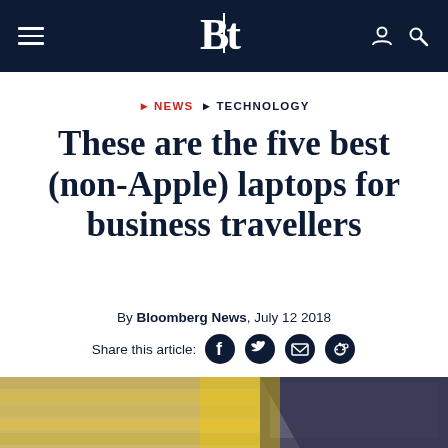BE — News > Technology
NEWS  TECHNOLOGY
These are the five best (non-Apple) laptops for business travellers
By Bloomberg News, July 12 2018
Share this article:
[Figure (photo): Blurred airport departure board with a laptop screen visible on the right edge]